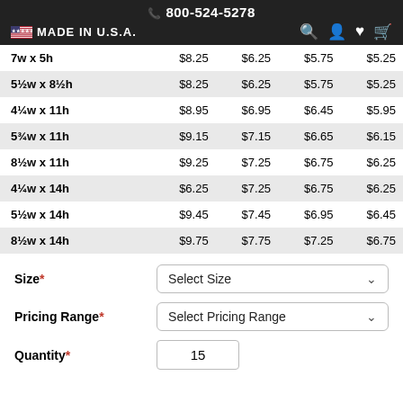📞 800-524-5278 | 🇺🇸 MADE IN U.S.A.
| Size | Price 1 | Price 2 | Price 3 | Price 4 |
| --- | --- | --- | --- | --- |
| 7w x 5h | $8.25 | $6.25 | $5.75 | $5.25 |
| 5½w x 8½h | $8.25 | $6.25 | $5.75 | $5.25 |
| 4¼w x 11h | $8.95 | $6.95 | $6.45 | $5.95 |
| 5¾w x 11h | $9.15 | $7.15 | $6.65 | $6.15 |
| 8½w x 11h | $9.25 | $7.25 | $6.75 | $6.25 |
| 4¼w x 14h | $6.25 | $7.25 | $6.75 | $6.25 |
| 5½w x 14h | $9.45 | $7.45 | $6.95 | $6.45 |
| 8½w x 14h | $9.75 | $7.75 | $7.25 | $6.75 |
Size* — Select Size
Pricing Range* — Select Pricing Range
Quantity* — 15